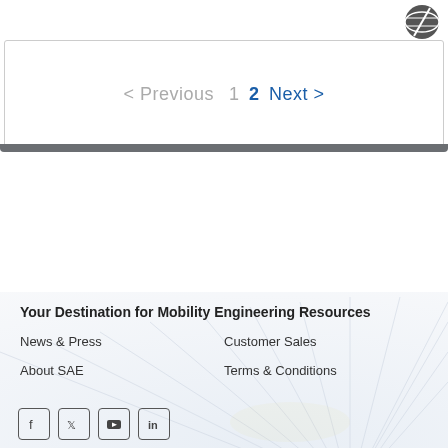[Figure (logo): SAE International logo icon in top right]
< Previous  1  2  Next >
Your Destination for Mobility Engineering Resources
News & Press
Customer Sales
About SAE
Terms & Conditions
[Figure (other): Social media icons: Facebook, Twitter, YouTube, LinkedIn]